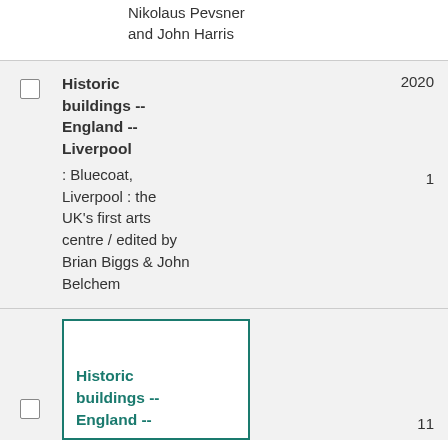Nikolaus Pevsner and John Harris
Historic buildings -- England -- Liverpool : Bluecoat, Liverpool : the UK's first arts centre / edited by Brian Biggs & John Belchem
Historic buildings -- England --